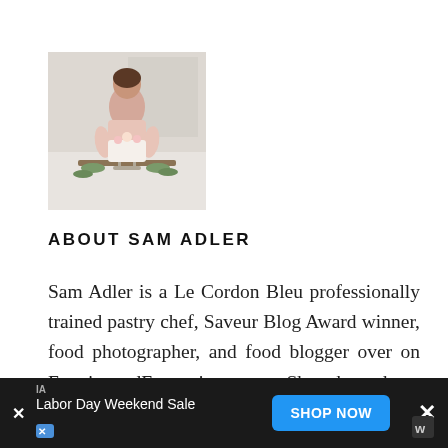[Figure (photo): Photo of Sam Adler, a woman standing behind a white cake decorated with flowers, in a light-filled room]
ABOUT SAM ADLER
Sam Adler is a Le Cordon Bleu professionally trained pastry chef, Saveur Blog Award winner, food photographer, and food blogger over on FrostingandFettuccine.com. She has been featured in numerous online and in-print publications including Taste of Home Magazine, Saveur Magazine, The Feed Feed, and Food Blogger Pro. Sam lives in Hollywood fl... ...od f...
[Figure (screenshot): Advertisement banner at the bottom: Labor Day Weekend Sale, SHOP NOW button, with close X button on the right]